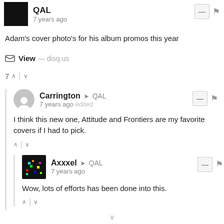QAL
7 years ago
Adam's cover photo's for his album promos this year
View — disq.us
7 ^ | v
Carrington → QAL
7 years ago edited
I think this new one, Attitude and Frontiers are my favorite covers if I had to pick.
Axxxel → QAL
7 years ago
Wow, lots of efforts has been done into this.